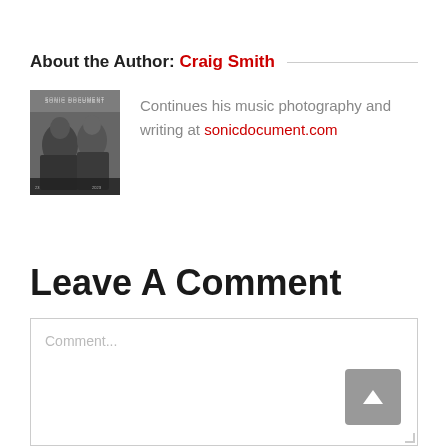About the Author: Craig Smith
[Figure (photo): Black and white photo of Craig Smith, music photographer, showing album or book cover with performers on stage]
Continues his music photography and writing at sonicdocument.com
Leave A Comment
Comment...